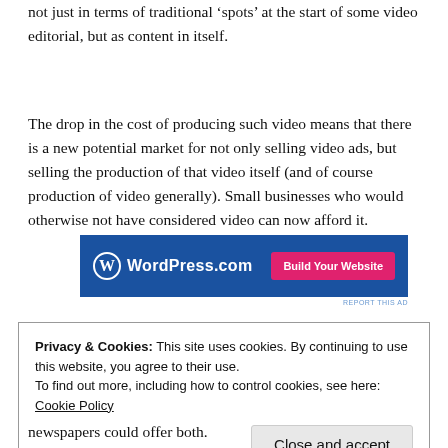not just in terms of traditional ‘spots’ at the start of some video editorial, but as content in itself.
The drop in the cost of producing such video means that there is a new potential market for not only selling video ads, but selling the production of that video itself (and of course production of video generally). Small businesses who would otherwise not have considered video can now afford it.
[Figure (other): WordPress.com advertisement banner with blue background showing WordPress logo and domain, and a pink 'Build Your Website' button]
Privacy & Cookies: This site uses cookies. By continuing to use this website, you agree to their use.
To find out more, including how to control cookies, see here: Cookie Policy
newspapers could offer both.